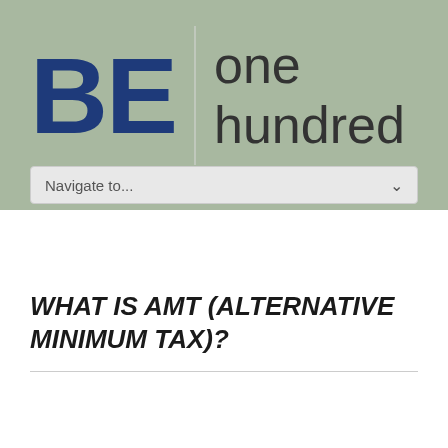[Figure (logo): BE one hundred logo — large bold blue 'BE' text, vertical divider line, and 'one hundred' text in dark gray on a sage green background]
Navigate to...
WHAT IS AMT (ALTERNATIVE MINIMUM TAX)?